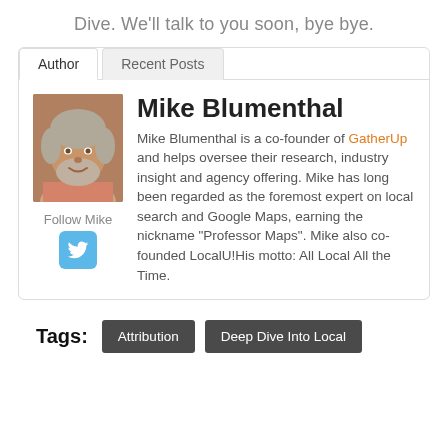Dive. We’ll talk to you soon, bye bye.
[Figure (other): Author bio card with tabs (Author / Recent Posts), photo of Mike Blumenthal, name, bio text, Follow Mike Twitter button, and tags row with Attribution and Deep Dive Into Local buttons.]
Mike Blumenthal
Mike Blumenthal is a co-founder of GatherUp and helps oversee their research, industry insight and agency offering. Mike has long been regarded as the foremost expert on local search and Google Maps, earning the nickname “Professor Maps”. Mike also co-founded LocalU! His motto: All Local All the Time.
Tags: Attribution  Deep Dive Into Local